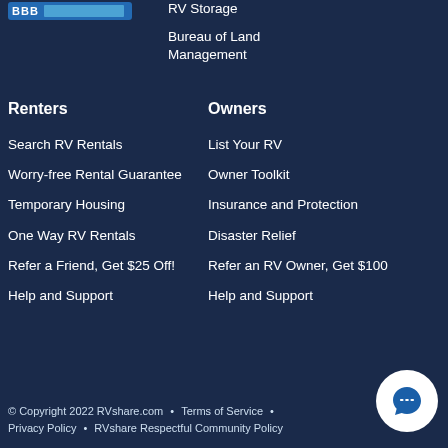[Figure (logo): BBB accreditation logo with blue bar]
RV Storage
Bureau of Land Management
Renters
Owners
Search RV Rentals
List Your RV
Worry-free Rental Guarantee
Owner Toolkit
Temporary Housing
Insurance and Protection
One Way RV Rentals
Disaster Relief
Refer a Friend, Get $25 Off!
Refer an RV Owner, Get $100
Help and Support
Help and Support
© Copyright 2022 RVshare.com • Terms of Service • Privacy Policy • RVshare Respectful Community Policy